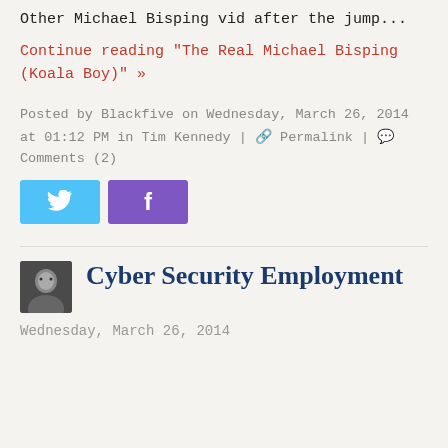Other Michael Bisping vid after the jump...
Continue reading "The Real Michael Bisping (Koala Boy)" »
Posted by Blackfive on Wednesday, March 26, 2014 at 01:12 PM in Tim Kennedy | 🔗 Permalink | 💬 Comments (2)
[Figure (other): Twitter and Facebook share buttons]
[Figure (photo): Small avatar portrait image of a person]
Cyber Security Employment
Wednesday, March 26, 2014